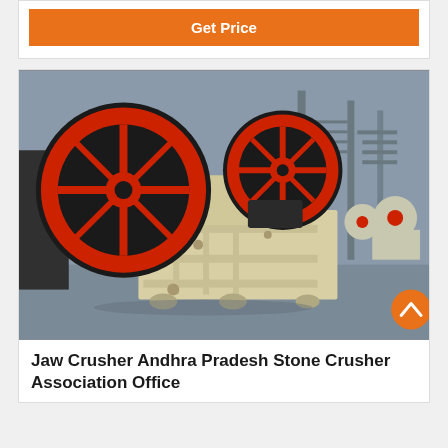Get Price
[Figure (photo): Industrial jaw crusher machine with large red and black flywheel, cream/beige colored body, photographed in a factory/warehouse setting. Multiple similar machines visible in background.]
Jaw Crusher Andhra Pradesh Stone Crusher Association Office